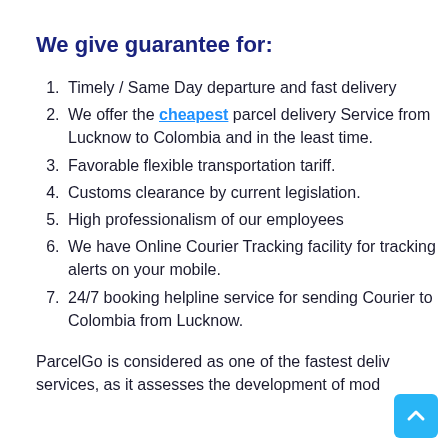We give guarantee for:
Timely / Same Day departure and fast delivery
We offer the cheapest parcel delivery Service from Lucknow to Colombia and in the least time.
Favorable flexible transportation tariff.
Customs clearance by current legislation.
High professionalism of our employees
We have Online Courier Tracking facility for tracking alerts on your mobile.
24/7 booking helpline service for sending Courier to Colombia from Lucknow.
ParcelGo is considered as one of the fastest delivery services, as it assesses the development of modern